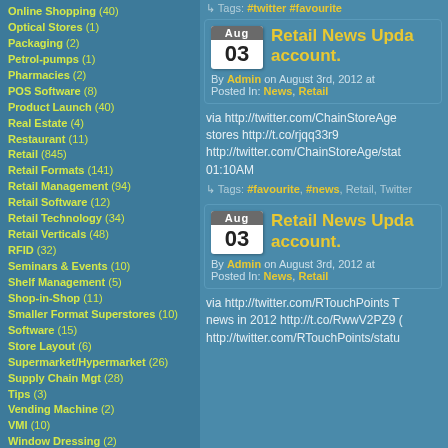Online Shopping (40)
Optical Stores (1)
Packaging (2)
Petrol-pumps (1)
Pharmacies (2)
POS Software (8)
Product Launch (40)
Real Estate (4)
Restaurant (11)
Retail (845)
Retail Formats (141)
Retail Management (94)
Retail Software (12)
Retail Technology (34)
Retail Verticals (48)
RFID (32)
Seminars & Events (10)
Shelf Management (5)
Shop-in-Shop (11)
Smaller Format Superstores (10)
Software (15)
Store Layout (6)
Supermarket/Hypermarket (26)
Supply Chain Mgt (28)
Tips (3)
Vending Machine (2)
VMI (10)
Window Dressing (2)
Archives
August 2022
July 2022
Tags: #twitter #favourite
Retail News Upda... account. By Admin on August 3rd, 2012. Posted In: News, Retail
via http://twitter.com/ChainStoreAge stores http://t.co/rjqq33r9 http://twitter.com/ChainStoreAge/stat 01:10AM
Tags: #favourite, #news, Retail, Twitter
Retail News Upda... account. By Admin on August 3rd, 2012. Posted In: News, Retail
via http://twitter.com/RTouchPoints T news in 2012 http://t.co/RwvV2PZ9 ( http://twitter.com/RTouchPoints/statu